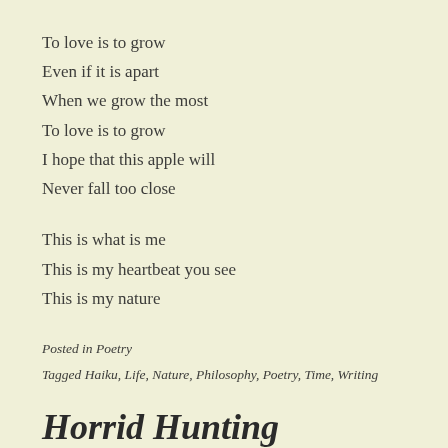To love is to grow
Even if it is apart
When we grow the most
To love is to grow
I hope that this apple will
Never fall too close

This is what is me
This is my heartbeat you see
This is my nature
Posted in Poetry
Tagged Haiku, Life, Nature, Philosophy, Poetry, Time, Writing
Horrid Hunting